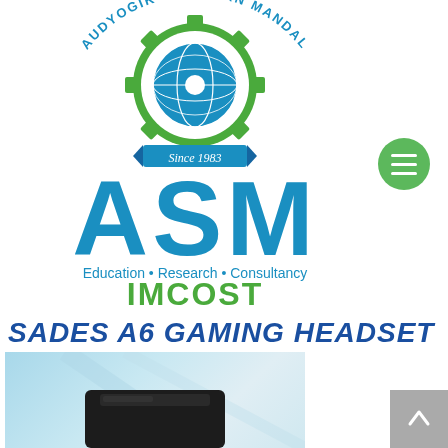[Figure (logo): ASM (Audyogik Shikshan Mandal) IMCOST institutional logo with gear/globe emblem, 'Since 1983' ribbon, large blue and green ASM letters, and tagline 'Education • Research • Consultancy']
SADES A6 GAMING HEADSET
[Figure (photo): Partial photo of a gaming headset (Sades A6) against a light blue background]